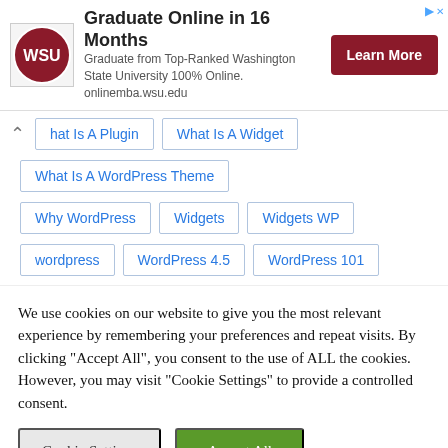[Figure (illustration): WSU advertisement banner: Washington State University logo on left, headline 'Graduate Online in 16 Months', subtext 'Graduate from Top-Ranked Washington State University 100% Online. onlinemba.wsu.edu', and a dark red 'Learn More' button on right]
hat Is A Plugin
What Is A Widget
What Is A WordPress Theme
Why WordPress
Widgets
Widgets WP
wordpress
WordPress 4.5
WordPress 101
We use cookies on our website to give you the most relevant experience by remembering your preferences and repeat visits. By clicking "Accept All", you consent to the use of ALL the cookies. However, you may visit "Cookie Settings" to provide a controlled consent.
Cookie Settings | Accept All